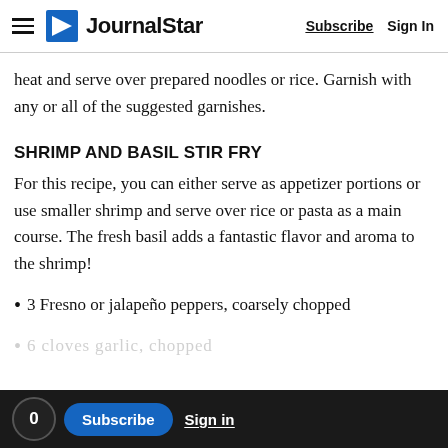Journal Star — Subscribe | Sign In
heat and serve over prepared noodles or rice. Garnish with any or all of the suggested garnishes.
SHRIMP AND BASIL STIR FRY
For this recipe, you can either serve as appetizer portions or use smaller shrimp and serve over rice or pasta as a main course. The fresh basil adds a fantastic flavor and aroma to the shrimp!
3 Fresno or jalapeño peppers, coarsely chopped
1/4 cup sugar